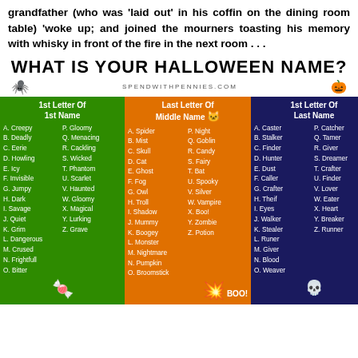grandfather (who was 'laid out' in his coffin on the dining room table) 'woke up; and joined the mourners toasting his memory with whisky in front of the fire in the next room . . .
WHAT IS YOUR HALLOWEEN NAME?
SPENDWITHPENNIES.COM
| 1st Letter Of 1st Name |
| --- |
| A. Creepy | P. Gloomy |
| B. Deadly | Q. Menacing |
| C. Eerie | R. Cackling |
| D. Howling | S. Wicked |
| E. Icy | T. Phantom |
| F. Invisible | U. Scarlet |
| G. Jumpy | V. Haunted |
| H. Dark | W. Gloomy |
| I. Savage | X. Magical |
| J. Quiet | Y. Lurking |
| K. Grim | Z. Grave |
| L. Dangerous |  |
| M. Crused |  |
| N. Frightfull |  |
| O. Bitter |  |
| Last Letter Of Middle Name |
| --- |
| A. Spider | P. Night |
| B. Mist | Q. Goblin |
| C. Skull | R. Candy |
| D. Cat | S. Fairy |
| E. Ghost | T. Bat |
| F. Fog | U. Spooky |
| G. Owl | V. Silver |
| H. Troll | W. Vampire |
| I. Shadow | X. Boo! |
| J. Mummy | Y. Zombie |
| K. Boogey | Z. Potion |
| L. Monster |  |
| M. Nightmare |  |
| N. Pumpkin |  |
| O. Broomstick |  |
| 1st Letter Of Last Name |
| --- |
| A. Caster | P. Catcher |
| B. Stalker | Q. Tamer |
| C. Finder | R. Giver |
| D. Hunter | S. Dreamer |
| E. Dust | T. Crafter |
| F. Caller | U. Finder |
| G. Crafter | V. Lover |
| H. Theif | W. Eater |
| I. Eyes | X. Heart |
| J. Walker | Y. Breaker |
| K. Stealer | Z. Runner |
| L. Runer |  |
| M. Giver |  |
| N. Blood |  |
| O. Weaver |  |